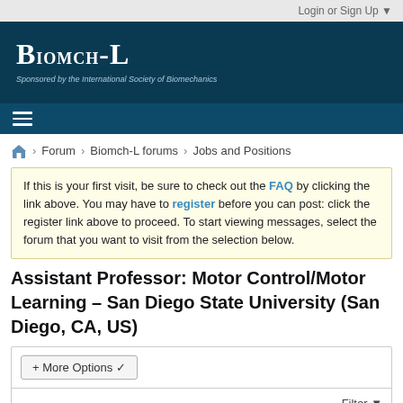Login or Sign Up ▼
[Figure (logo): BIOMCH-L banner logo on dark blue background with text 'Sponsored by the International Society of Biomechanics']
Forum › Biomch-L forums › Jobs and Positions
If this is your first visit, be sure to check out the FAQ by clicking the link above. You may have to register before you can post: click the register link above to proceed. To start viewing messages, select the forum that you want to visit from the selection below.
Assistant Professor: Motor Control/Motor Learning – San Diego State University (San Diego, CA, US)
+ More Options ∨
Filter